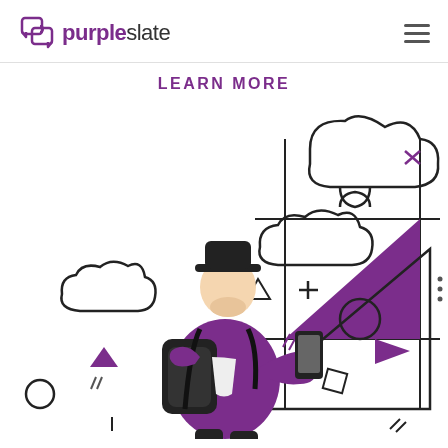purpleslate
LEARN MORE
[Figure (illustration): Illustration of a person with a backpack and hat holding a smartphone, interacting with a digital interface/whiteboard showing geometric shapes, puzzle pieces, cloud shapes, and decorative elements like triangles, circles, and crosses in black and purple.]